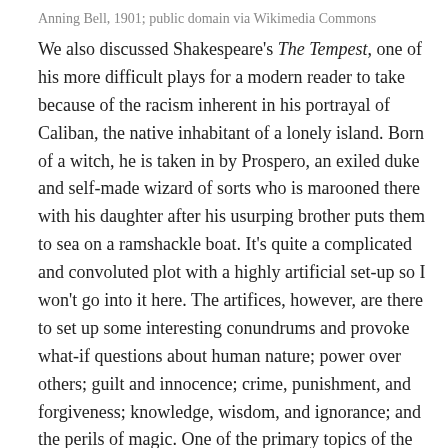Anning Bell, 1901; public domain via Wikimedia Commons
We also discussed Shakespeare's The Tempest, one of his more difficult plays for a modern reader to take because of the racism inherent in his portrayal of Caliban, the native inhabitant of a lonely island. Born of a witch, he is taken in by Prospero, an exiled duke and self-made wizard of sorts who is marooned there with his daughter after his usurping brother puts them to sea on a ramshackle boat. It's quite a complicated and convoluted plot with a highly artificial set-up so I won't go into it here. The artifices, however, are there to set up some interesting conundrums and provoke what-if questions about human nature; power over others; guilt and innocence; crime, punishment, and forgiveness; knowledge, wisdom, and ignorance; and the perils of magic. One of the primary topics of the play that we